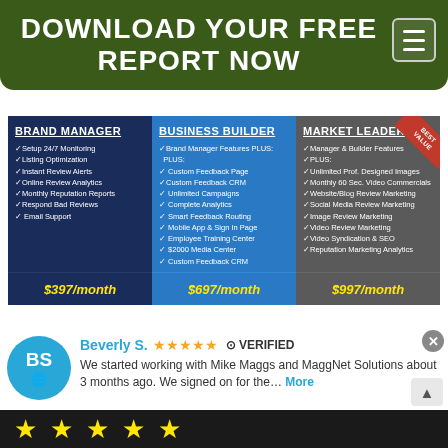DOWNLOAD YOUR FREE REPORT NOW
| BRAND MANAGER | BUSINESS BUILDER | MARKET LEADER |
| --- | --- | --- |
| ✓Setup 24/7 Monitoring
✓Listing Optimization
✓Instant Review Alerts
✓Online Review Analytics
✓Monthly Reputation Reports
✓Respond Bad Reviews
✓ Email Support | ✓Brand Manager Features PLUS:
✓ Custom Feedback Page
✓Custom Feedback CRM
✓ Unlimited Campaigns
✓ Complete Analytics
✓ Smart Feedback Routing
✓ Mobile App & Sign In Page
✓ Employee Training Center
✓ $2000 Media Center
✓ Custom Feedback CRM | ✓Manager & Builder Features
✓PLUS:
✓Unlimited Prof. Designed Images
✓Monthly 60 Sec. Video Commercials
✓Website/Blog Review Marketing
✓Social Media Review Marketing
✓Image Review Marketing
✓Video Review Marketing
✓Video Syndication & SEO
✓Reputation Marketing Analytics |
| $397/month | $697/month | $997/month |
Beverly S. ★★★★★ ✓ VERIFIED
We started working with Mike Maggs and MaggNet Solutions about 3 months ago. We signed on for the… More